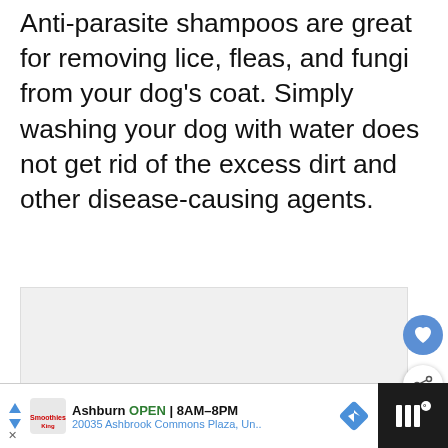Anti-parasite shampoos are great for removing lice, fleas, and fungi from your dog's coat. Simply washing your dog with water does not get rid of the excess dirt and other disease-causing agents.
[Figure (photo): Gray placeholder image box in article]
[Figure (other): Like button (heart icon, blue circle), Share button (white circle with share icon), and What's Next widget showing 'When Are Bees Least...' with purple flower thumbnail]
[Figure (other): Advertisement bar at bottom: Ashburn OPEN 8AM-8PM, 20035 Ashbrook Commons Plaza, Un.. with Smoothie King logo and navigation icon on dark background]